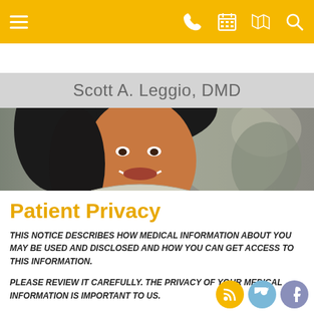Scott A. Leggio, DMD — navigation bar with menu, phone, calendar, map, search icons
Scott A. Leggio, DMD
[Figure (photo): Smiling woman with dark hair, dental patient photo used as hero image]
Patient Privacy
THIS NOTICE DESCRIBES HOW MEDICAL INFORMATION ABOUT YOU MAY BE USED AND DISCLOSED AND HOW YOU CAN GET ACCESS TO THIS INFORMATION.
PLEASE REVIEW IT CAREFULLY. THE PRIVACY OF YOUR MEDICAL INFORMATION IS IMPORTANT TO US.